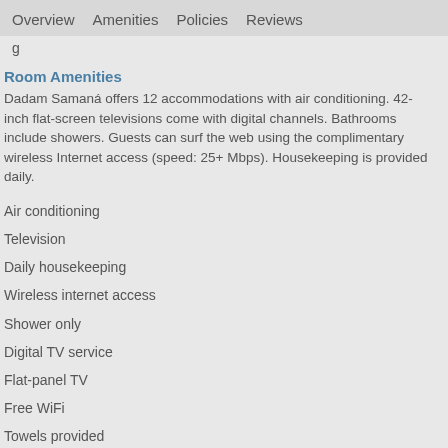Overview   Amenities   Policies   Reviews
g
Room Amenities
Dadam Samaná offers 12 accommodations with air conditioning. 42-inch flat-screen televisions come with digital channels. Bathrooms include showers. Guests can surf the web using the complimentary wireless Internet access (speed: 25+ Mbps). Housekeeping is provided daily.
Air conditioning
Television
Daily housekeeping
Wireless internet access
Shower only
Digital TV service
Flat-panel TV
Free WiFi
Towels provided
Bedsheets provided